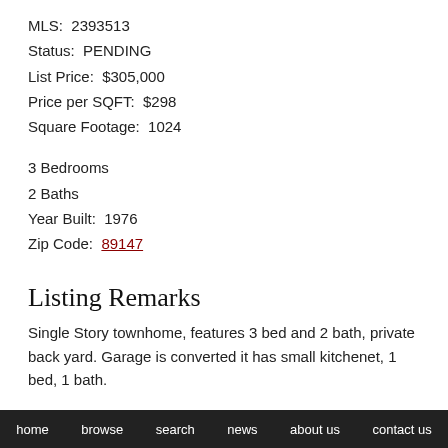MLS: 2393513
Status: PENDING
List Price: $305,000
Price per SQFT: $298
Square Footage: 1024
3 Bedrooms
2 Baths
Year Built: 1976
Zip Code: 89147
Listing Remarks
Single Story townhome, features 3 bed and 2 bath, private back yard. Garage is converted it has small kitchenet, 1 bed, 1 bath.
home   browse   search   news   about us   contact us